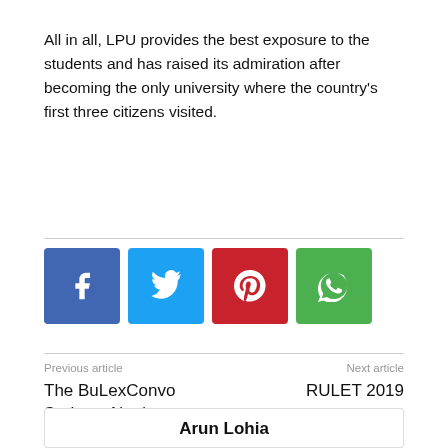All in all, LPU provides the best exposure to the students and has raised its admiration after becoming the only university where the country's first three citizens visited.
[Figure (infographic): Four social media share buttons: Facebook (blue), Twitter (light blue), Pinterest (red), WhatsApp (green)]
Previous article
The BuLexConvo Series – Not just a conference
Next article
RULET 2019
Arun Lohia
Hi my name is Arun lohia. I am a B. Tech graduate and currently